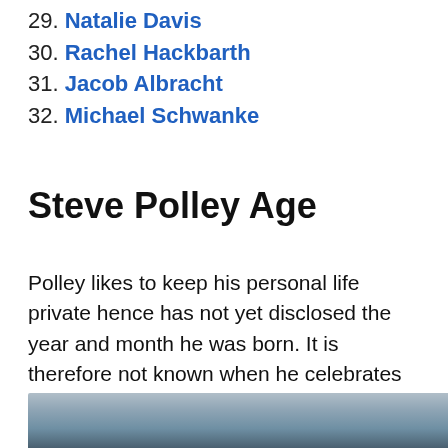29. Natalie Davis
30. Rachel Hackbarth
31. Jacob Albracht
32. Michael Schwanke
Steve Polley Age
Polley likes to keep his personal life private hence has not yet disclosed the year and month he was born. It is therefore not known when he celebrates his birthday.
[Figure (photo): A photograph partially visible at the bottom of the page, showing a cloudy sky scene.]